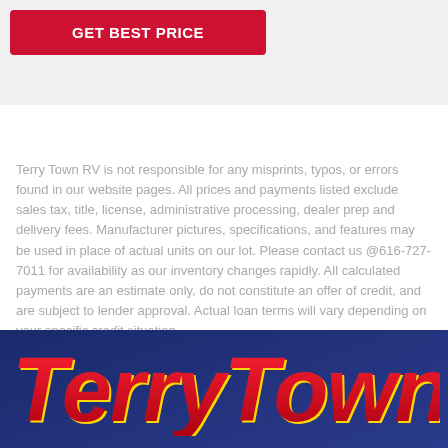GET BEST PRICE
Terry Town RV is not responsible for any misprints, typos, or errors found in our website pages. All prices and payments listed exclude sales tax, title, license, administrative processing, dealer prep and delivery fees. Manufacturer pictures, specifications, and features may be used in place of actual units on our lot. Please contact us @616-727-7011 for availability as our inventory changes rapidly. All calculated payments are an estimate only, do not constitute an offer of credit, and are subject to lender approval. Actual loan terms will vary depending on your specific credit situation.
[Figure (logo): TerryTown logo in red italic bold text on dark navy blue background]